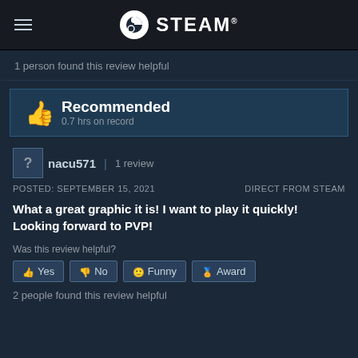STEAM
1 person found this review helpful
Recommended
0.7 hrs on record
nacu571 | 1 review
POSTED: SEPTEMBER 15, 2021
DIRECT FROM STEAM
What a great graphic it is! I want to play it quickly! Looking forward to PVP!
Was this review helpful?
Yes  No  Funny  Award
2 people found this review helpful